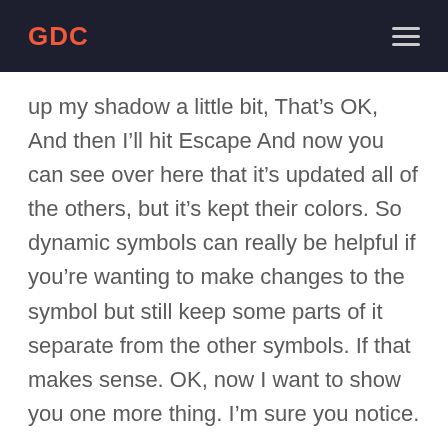GDC
up my shadow a little bit, That’s OK, And then I’ll hit Escape And now you can see over here that it’s updated all of the others, but it’s kept their colors. So dynamic symbols can really be helpful if you’re wanting to make changes to the symbol but still keep some parts of it separate from the other symbols. If that makes sense. OK, now I want to show you one more thing. I’m sure you notice.